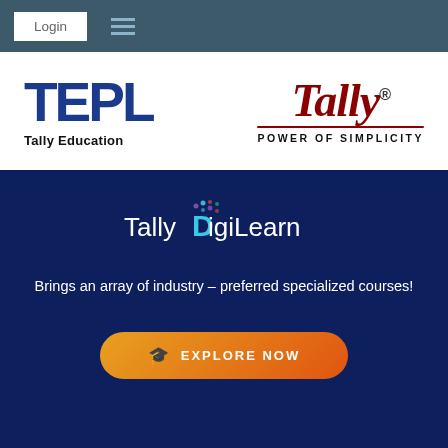Login
[Figure (logo): TEPL Tally Education logo - large blue bold TEPL text with 'Tally Education' subtitle]
[Figure (logo): Tally logo in dark red italic script with registered trademark symbol and 'POWER OF SIMPLICITY' tagline]
[Figure (logo): Tally DigiLearn logo on dark blue background with cyan D letter and pixel dots]
Brings an array of industry – preferred specialized courses!
[Figure (other): Orange gradient EXPLORE NOW button with graduation cap icon]